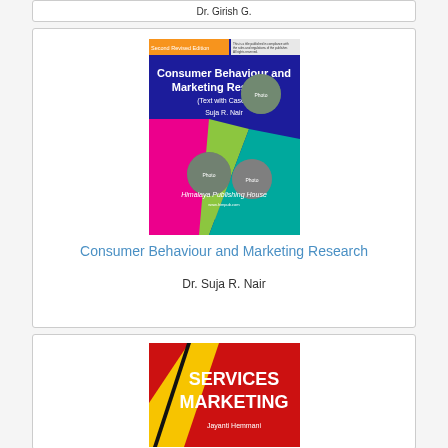Dr. Girish G.
[Figure (illustration): Book cover of Consumer Behaviour and Marketing Research (Second Revised Edition) by Suja R. Nair, published by Himalaya Publishing House. Blue background with geometric colored shapes and circular photos of people.]
Consumer Behaviour and Marketing Research
Dr. Suja R. Nair
[Figure (illustration): Book cover of Services Marketing, red background with yellow diagonal stripe, by Jayanti Hemmani.]